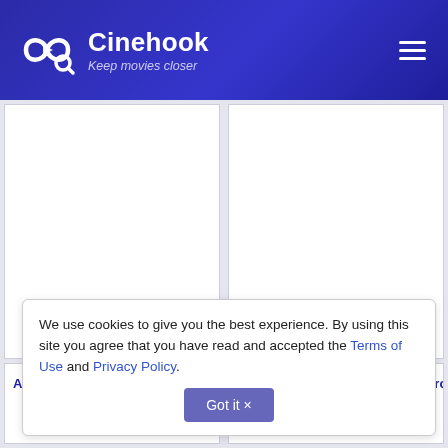Cinehook — Keep movies closer
[Figure (screenshot): Two movie poster cards (blank/white placeholders) in a two-column grid layout]
About Time 1962
They Call Him Marcado - Los Marc...
We use cookies to give you the best experience. By using this site you agree that you have read and accepted the Terms of Use and Privacy Policy. Got it ×